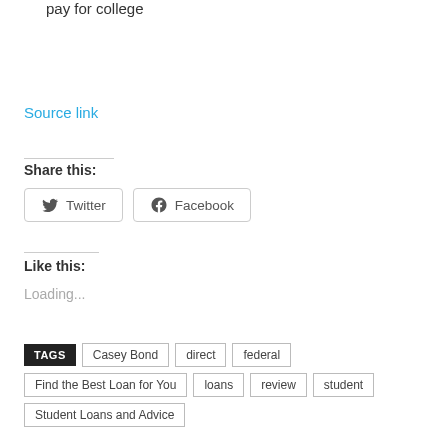pay for college
Source link
Share this:
Twitter   Facebook
Like this:
Loading...
TAGS  Casey Bond  direct  federal  Find the Best Loan for You  loans  review  student  Student Loans and Advice